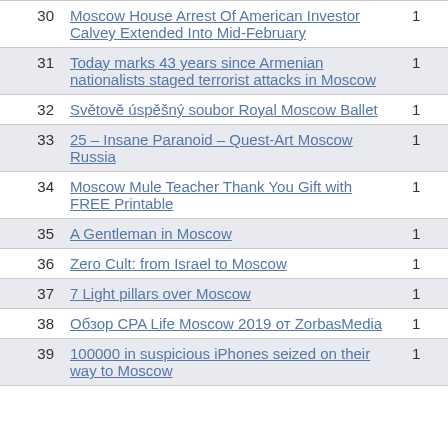| # | Title | Count |
| --- | --- | --- |
| 30 | Moscow House Arrest Of American Investor Calvey Extended Into Mid-February | 1 |
| 31 | Today marks 43 years since Armenian nationalists staged terrorist attacks in Moscow | 1 |
| 32 | Světově úspěšný soubor Royal Moscow Ballet | 1 |
| 33 | 25 – Insane Paranoid – Quest-Art Moscow Russia | 1 |
| 34 | Moscow Mule Teacher Thank You Gift with FREE Printable | 1 |
| 35 | A Gentleman in Moscow | 1 |
| 36 | Zero Cult: from Israel to Moscow | 1 |
| 37 | 7 Light pillars over Moscow | 1 |
| 38 | Обзор CPA Life Moscow 2019 от ZorbasMedia | 1 |
| 39 | 100000 in suspicious iPhones seized on their way to Moscow | 1 |